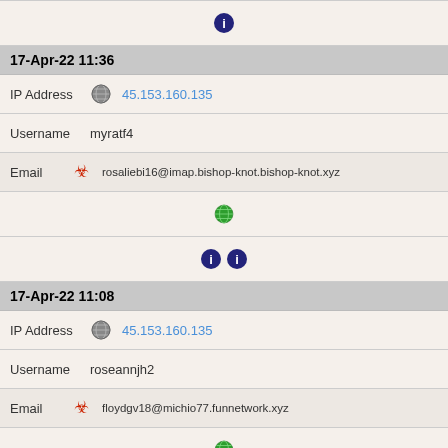[Figure (infographic): Dark blue circle info icon at top center]
17-Apr-22 11:36
IP Address 45.153.160.135
Username myratf4
Email rosaliebi16@imap.bishop-knot.bishop-knot.xyz
[Figure (infographic): Green globe icon]
[Figure (infographic): Two dark blue circle info icons]
17-Apr-22 11:08
IP Address 45.153.160.135
Username roseannjh2
Email floydgv18@michio77.funnetwork.xyz
[Figure (infographic): Green globe icon]
[Figure (infographic): Two dark blue circle info icons]
17-Apr-22 05:51
IP Address 45.153.160.135
Username dorisqg18
Email courtneyns69@sitize.stars-and-glory.stars-and-